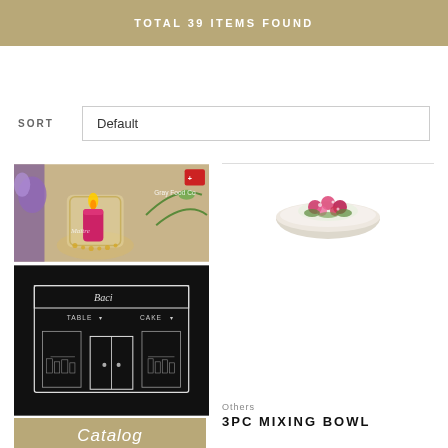TOTAL 39 ITEMS FOUND
SORT   Default
[Figure (photo): Product catalog cover showing a candlelit jar with purple flowers and a store front illustration with text 'Baci', 'TABLE', 'CAKE', and 'Catalog' on a tan background.]
[Figure (photo): A white bowl with colorful flowers/food arrangement viewed from above.]
Others
3PC MIXING BOWL